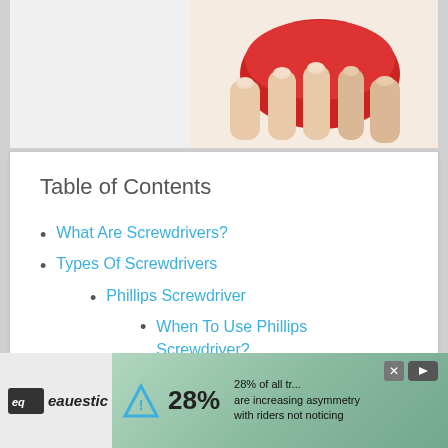[Figure (photo): Top portion of a hand holding a red object against a white background, cropped view showing fingers gripping something red]
Table of Contents
What Are Screwdrivers?
Types Of Screwdrivers
Phillips Screwdriver
When To Use Phillips Screwdriver?
Flat Head Screwdriver
When To Use Flat Head Screwdriver?
[Figure (other): Advertisement banner for eauestic showing 28% statistic about riders increasing asymmetry with riders not noticing]